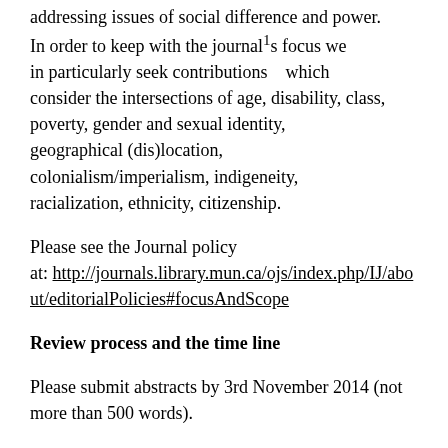addressing issues of social difference and power. In order to keep with the journal¹s focus we in particularly seek contributions   which consider the intersections of age, disability, class, poverty, gender and sexual identity, geographical (dis)location, colonialism/imperialism, indigeneity, racialization, ethnicity, citizenship.
Please see the Journal policy at: http://journals.library.mun.ca/ojs/index.php/IJ/about/editorialPolicies#focusAndScope
Review process and the time line
Please submit abstracts by 3rd November 2014 (not more than 500 words).
The guest editors of this special issue will review